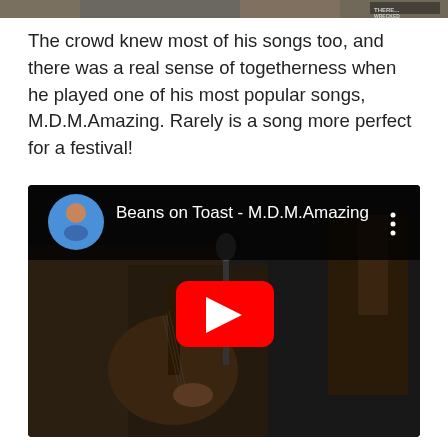[Figure (photo): Cropped photo of a crowd at a concert or festival, partially visible at the top of the page]
The crowd knew most of his songs too, and there was a real sense of togetherness when he played one of his most popular songs, M.D.M.Amazing. Rarely is a song more perfect for a festival!
[Figure (screenshot): YouTube video embed showing Beans on Toast - M.D.M.Amazing, with a person playing acoustic guitar, a circular avatar of the artist, the video title, and a large red play button overlay]